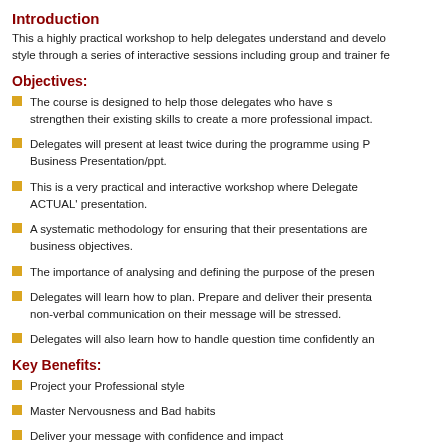Introduction
This a highly practical workshop to help delegates understand and develop their style through a series of interactive sessions including group and trainer fe
Objectives:
The course is designed to help those delegates who have some experience to strengthen their existing skills to create a more professional impact.
Delegates will present at least twice during the programme using P Business Presentation/ppt.
This is a very practical and interactive workshop where Delegates ACTUAL' presentation.
A systematic methodology for ensuring that their presentations are business objectives.
The importance of analysing and defining the purpose of the presen
Delegates will learn how to plan. Prepare and deliver their presenta non-verbal communication on their message will be stressed.
Delegates will also learn how to handle question time confidently an
Key Benefits:
Project your Professional style
Master Nervousness and Bad habits
Deliver your message with confidence and impact